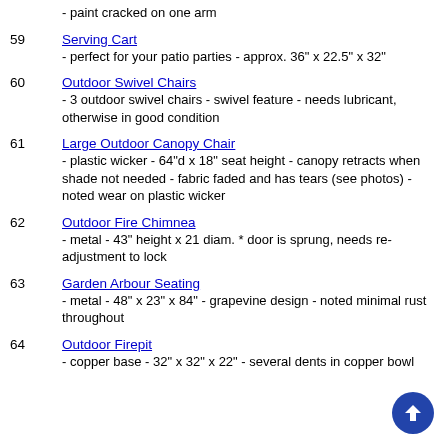- paint cracked on one arm
59  Serving Cart
- perfect for your patio parties - approx. 36" x 22.5" x 32"
60  Outdoor Swivel Chairs
- 3 outdoor swivel chairs - swivel feature - needs lubricant, otherwise in good condition
61  Large Outdoor Canopy Chair
- plastic wicker - 64"d x 18" seat height - canopy retracts when shade not needed - fabric faded and has tears (see photos) - noted wear on plastic wicker
62  Outdoor Fire Chimnea
- metal - 43" height x 21 diam. * door is sprung, needs re-adjustment to lock
63  Garden Arbour Seating
- metal - 48" x 23" x 84" - grapevine design - noted minimal rust throughout
64  Outdoor Firepit
- copper base - 32" x 32" x 22" - several dents in copper bowl